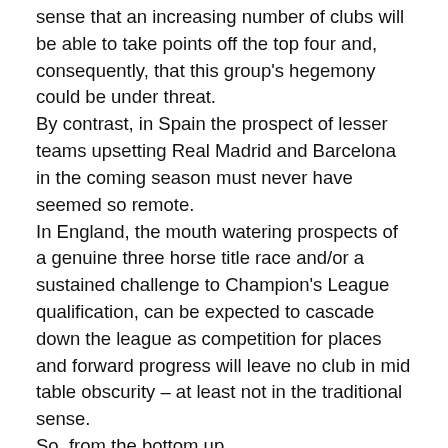sense that an increasing number of clubs will be able to take points off the top four and, consequently, that this group's hegemony could be under threat.
By contrast, in Spain the prospect of lesser teams upsetting Real Madrid and Barcelona in the coming season must never have seemed so remote.
In England, the mouth watering prospects of a genuine three horse title race and/or a sustained challenge to Champion's League qualification, can be expected to cascade down the league as competition for places and forward progress will leave no club in mid table obscurity – at least not in the traditional sense.
So, from the bottom up …